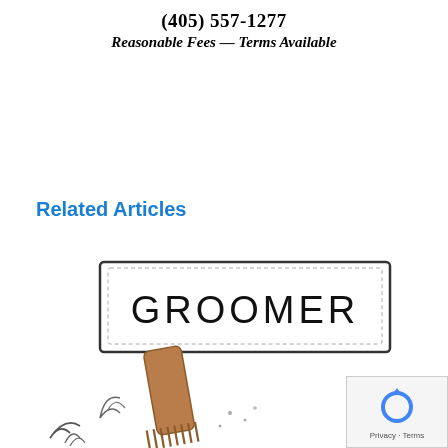(405) 557-1277
Reasonable Fees — Terms Available
Related Articles
[Figure (illustration): Cartoon illustration of a groomer sign (rectangular nameplate reading 'GROOMER') being held or revealed by a hand holding a comb, with hair/fur debris falling.]
[Figure (logo): Google reCAPTCHA privacy badge with spinning arrows icon and 'Privacy · Terms' text]